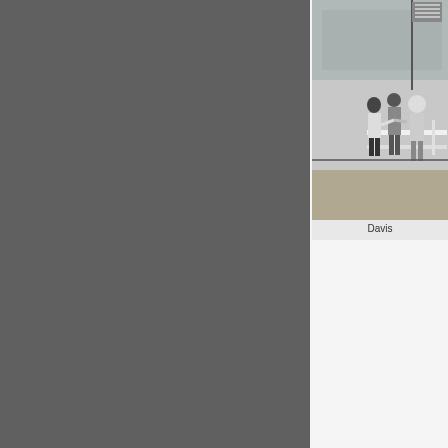[Figure (photo): Black and white photograph of people standing near a flag pole at a race track or similar venue. Partial view cropped at right edge.]
Davis
Race morning was fi... spectacular race.
Lex was on pole amo... spectacularly bagged... car at the end of the ... of his own.
The team planned a c... all four tyres and repl...